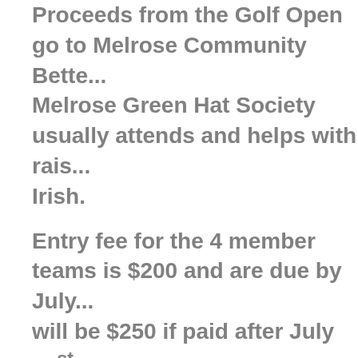Proceeds from the Golf Open go to Melrose Community Bette... Melrose Green Hat Society usually attends and helps with rais... Irish.
Entry fee for the 4 member teams is $200 and are due by July... will be $250 if paid after July 31st.
Sponsorships are $100 and donations are also being recruite... will be posted on signs on the golf course the day of the tour... in a thank you ad in the Albia and Chariton newspapers after... posted on the Melrose web site www.melroseiowa.org.
Tee time for the Melrose Open is 11.30 a.m shotgun start. An Awa... about 5pm in the clubhouse.
Coveted green blazers will be the grand prize and will be presente... Green Blazer Winners Club.
Melrose heartily welcomes all golfers and non-golfers Irish a... appreciate Melrose to this gala event. A full gallery of fans is...